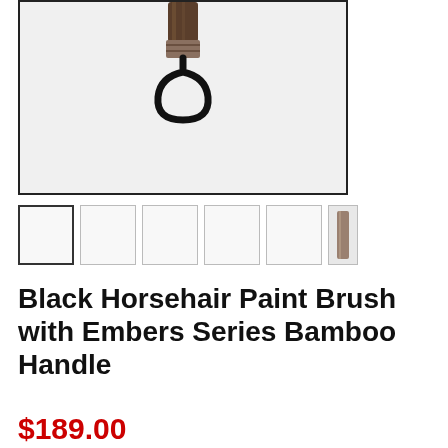[Figure (photo): Main product photo of a Black Horsehair Paint Brush with a bamboo handle and black loop cord, shown hanging against a white background with a thin black border.]
[Figure (photo): Row of six product thumbnail images. The first thumbnail is selected (bold border). Thumbnails 2-5 are empty/white. Thumbnail 6 is partially visible showing a brush detail.]
Black Horsehair Paint Brush with Embers Series Bamboo Handle
$189.00